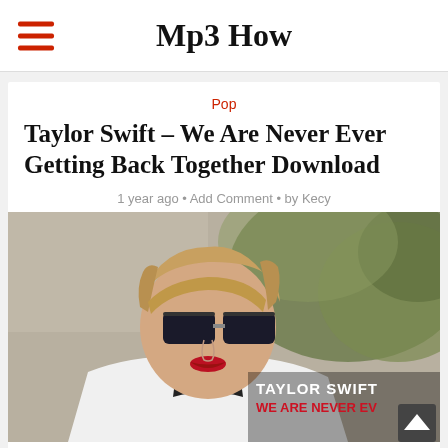Mp3 How
Pop
Taylor Swift – We Are Never Ever Getting Back Together Download
1 year ago · Add Comment · by Kecy
[Figure (photo): Taylor Swift wearing dark sunglasses and a white jacket with red lipstick, with album text overlay reading TAYLOR SWIFT WE ARE NEVER EV...]